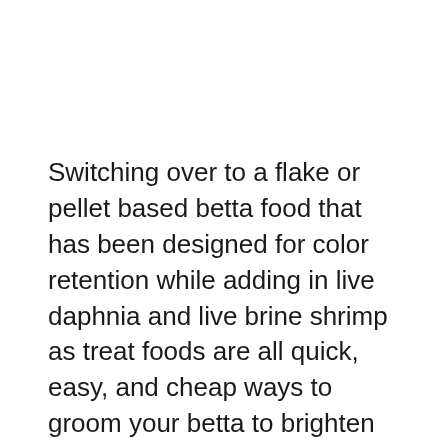Switching over to a flake or pellet based betta food that has been designed for color retention while adding in live daphnia and live brine shrimp as treat foods are all quick, easy, and cheap ways to groom your betta to brighten its colors.
In our opinion, the Bettamin is the best standard food option for betta fish on the market right now when it comes to brightening the colors of your betta fish.